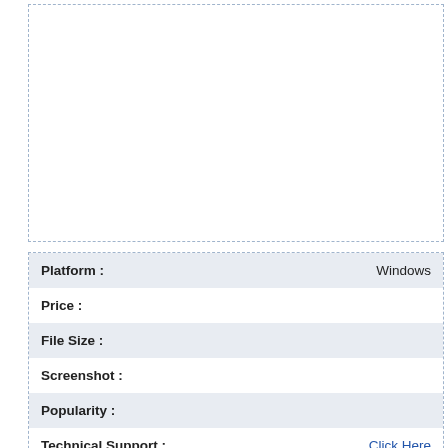[Figure (other): Empty dashed-border box at top of page, likely for a screenshot or image placeholder]
| Field | Value |
| --- | --- |
| Platform : | Windows |
| Price : |  |
| File Size : |  |
| Screenshot : |  |
| Popularity : |  |
| Technical Support : | Click Here |
| Date Added : |  |
| Rating : |  |
| User Reviews : | Share Y... |
The once bright and beautiful world fell under the onslaught of darkness. The darkness that leads to an evil from the depths of hell... Humanity had long since lost all hope of salvation. Grains of a
[Figure (other): NO SPYWARE / NO ADWARE / NO VIRUSES / CERTIFIED badge]